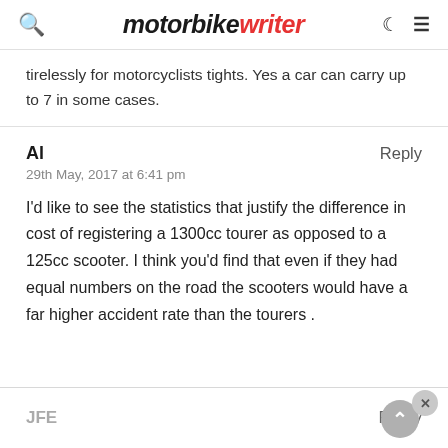motorbike writer
tirelessly for motorcyclists tights. Yes a car can carry up to 7 in some cases.
Al
29th May, 2017 at 6:41 pm

I'd like to see the statistics that justify the difference in cost of registering a 1300cc tourer as opposed to a 125cc scooter. I think you'd find that even if they had equal numbers on the road the scooters would have a far higher accident rate than the tourers .
JFE    Reply